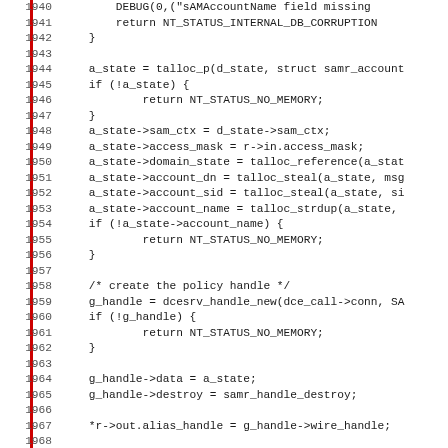Source code listing, lines 1940-1971, C programming language
1940        DEBUG(0,("sAMAccountName field missing
1941            return NT_STATUS_INTERNAL_DB_CORRUPTION
1942    }
1943
1944    a_state = talloc_p(d_state, struct samr_account
1945    if (!a_state) {
1946            return NT_STATUS_NO_MEMORY;
1947    }
1948    a_state->sam_ctx = d_state->sam_ctx;
1949    a_state->access_mask = r->in.access_mask;
1950    a_state->domain_state = talloc_reference(a_stat
1951    a_state->account_dn = talloc_steal(a_state, msg
1952    a_state->account_sid = talloc_steal(a_state, si
1953    a_state->account_name = talloc_strdup(a_state,
1954    if (!a_state->account_name) {
1955            return NT_STATUS_NO_MEMORY;
1956    }
1957
1958    /* create the policy handle */
1959    g_handle = dcesrv_handle_new(dce_call->conn, SA
1960    if (!g_handle) {
1961            return NT_STATUS_NO_MEMORY;
1962    }
1963
1964    g_handle->data = a_state;
1965    g_handle->destroy = samr_handle_destroy;
1966
1967    *r->out.alias_handle = g_handle->wire_handle;
1968
1969    return NT_STATUS_OK;
1970 }
1971